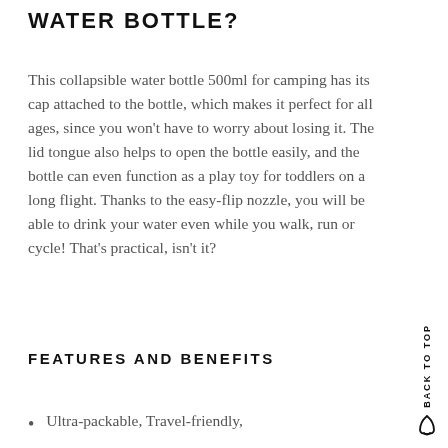WATER BOTTLE?
This collapsible water bottle 500ml for camping has its cap attached to the bottle, which makes it perfect for all ages, since you won't have to worry about losing it. The lid tongue also helps to open the bottle easily, and the bottle can even function as a play toy for toddlers on a long flight. Thanks to the easy-flip nozzle, you will be able to drink your water even while you walk, run or cycle! That's practical, isn't it?
FEATURES AND BENEFITS
Ultra-packable, Travel-friendly,